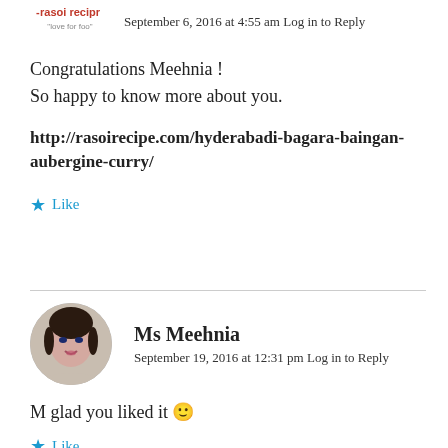September 6, 2016 at 4:55 am Log in to Reply
Congratulations Meehnia !
So happy to know more about you.
http://rasoirecipe.com/hyderabadi-bagara-baingan-aubergine-curry/
Like
Ms Meehnia
September 19, 2016 at 12:31 pm Log in to Reply
M glad you liked it 🙂
Like